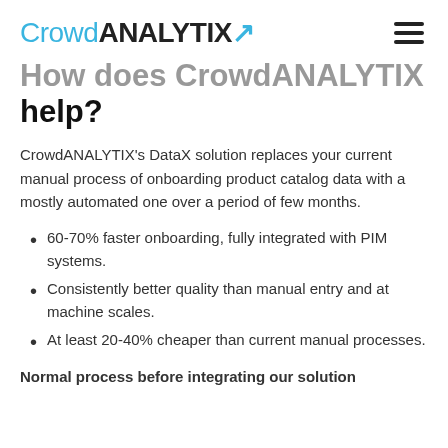CrowdANALYTIX
How does CrowdANALYTIX help?
CrowdANALYTIX's DataX solution replaces your current manual process of onboarding product catalog data with a mostly automated one over a period of few months.
60-70% faster onboarding, fully integrated with PIM systems.
Consistently better quality than manual entry and at machine scales.
At least 20-40% cheaper than current manual processes.
Normal process before integrating our solution